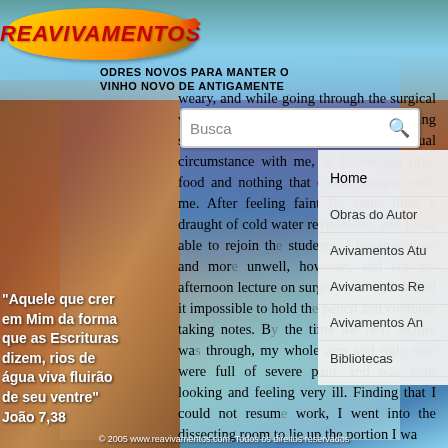[Figure (screenshot): Website screenshot of Reavivamentos religious website with scenic background of canyon/waterfall. Shows logo, navigation menu, article text, search box, and quote overlay.]
REAVIVAMENTOS
ODRES NOVOS PARA MANTER O VINHO NOVO DE ANTIGAMENTE
Busca (search box)
Home
Obras do Autor
Avivamentos Atu
Avivamentos Re
Avivamentos An
Bibliotecas
weary, and while going through the surgical w... to run out, being suddenly very sick -- a most unusual circumstance with me, as I took but little food and nothing that could disagree with me. After feeling faint for some time, a draught of cold water revived me, and I was able to rejoin the students. I became more and more unwell, however, and ere the afternoon lecture on surgery was over found it impossible to hold the pencil and continue taking notes. By the time the next lecture was through, my whole arm and right side were full of severe pain, and was both looking and feeling very ill. Finding that I could not resume work, I went into the dissecting room to lie up the portion I wa
"Aquele que crer em Mim da forma que as Escrituras dizem, rios de água viva fluirão de seu ventre" João 7,38
© 2005 www.reavivamentos.com. Todos os direitos reservados